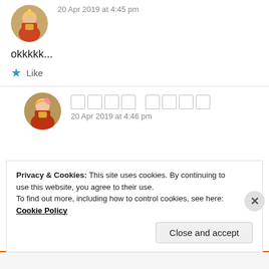[Figure (photo): Circular avatar image of a person in traditional Indian attire, colorful red and gold dress]
20 Apr 2019 at 4:45 pm
okkkkk...
★ Like
[Figure (photo): Circular avatar image of a person in traditional Indian attire, colorful red dress with flowers]
□□□□ □□□□
20 Apr 2019 at 4:46 pm
Privacy & Cookies: This site uses cookies. By continuing to use this website, you agree to their use.
To find out more, including how to control cookies, see here: Cookie Policy
Close and accept